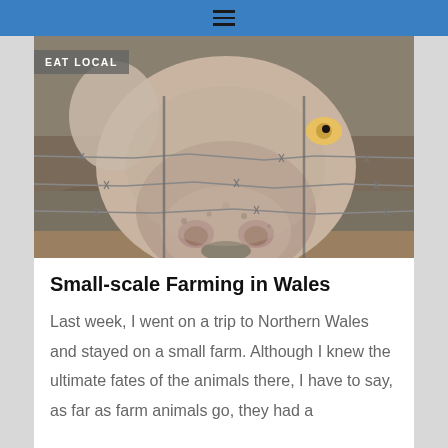≡
[Figure (photo): Close-up photograph of a pig's face pushing through barbed wire fence, with muddy background. A grey badge reading 'EAT LOCAL' is overlaid in the top-left corner.]
Small-scale Farming in Wales
Last week, I went on a trip to Northern Wales and stayed on a small farm. Although I knew the ultimate fates of the animals there, I have to say, as far as farm animals go, they had a